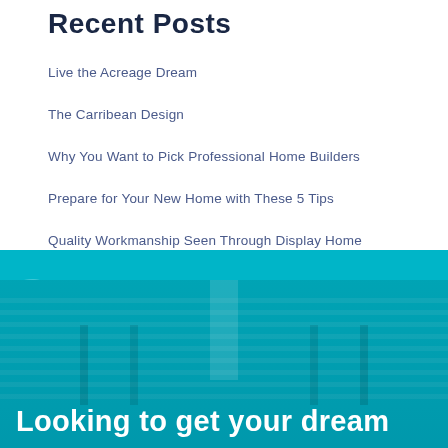Recent Posts
Live the Acreage Dream
The Carribean Design
Why You Want to Pick Professional Home Builders
Prepare for Your New Home with These 5 Tips
Quality Workmanship Seen Through Display Home
[Figure (photo): Teal-overlaid image of outdoor wooden furniture (table and chairs) with a wave-shaped white section divider above it, and bold white text at the bottom reading 'Looking to get your dream']